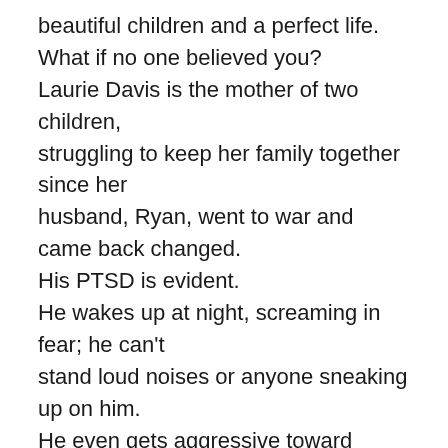beautiful children and a perfect life. What if no one believed you? Laurie Davis is the mother of two children, struggling to keep her family together since her husband, Ryan, went to war and came back changed. His PTSD is evident. He wakes up at night, screaming in fear; he can't stand loud noises or anyone sneaking up on him. He even gets aggressive toward Laurie and the children. It has gotten so bad that he can no longer stay under the same roof as his family. When a woman from his squadron is found murdered, Laurie discovers something that makes her suspect Ryan, her own husband. But what do you do when no one believes a decorated war hero